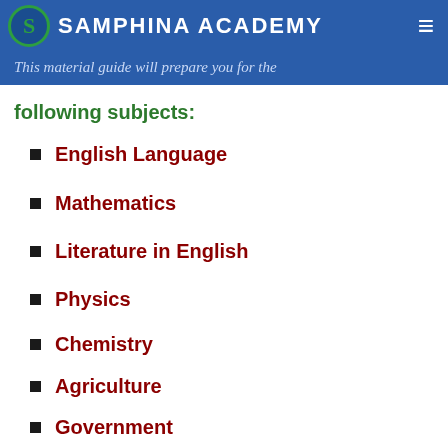SAMPHINA ACADEMY
This material guide will prepare you for the following subjects:
English Language
Mathematics
Literature in English
Physics
Chemistry
Agriculture
Government
Commerce
Biology
Geography (partial)